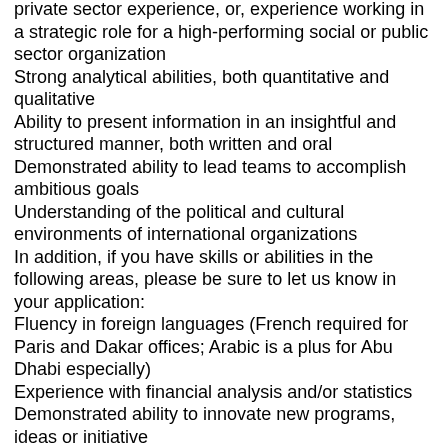private sector experience, or, experience working in a strategic role for a high-performing social or public sector organization
Strong analytical abilities, both quantitative and qualitative
Ability to present information in an insightful and structured manner, both written and oral
Demonstrated ability to lead teams to accomplish ambitious goals
Understanding of the political and cultural environments of international organizations
In addition, if you have skills or abilities in the following areas, please be sure to let us know in your application:
Fluency in foreign languages (French required for Paris and Dakar offices; Arabic is a plus for Abu Dhabi especially)
Experience with financial analysis and/or statistics
Demonstrated ability to innovate new programs, ideas or initiative
What You Will Do and How You Will Grow
You will drive the creation of innovative and results-oriented solutions for Dalberg’s clients – helping us change the development landscape around the world. Dalberg Summer/Winter Consultants take ownership of key aspects of the client’s challenges, initiate critical and creative